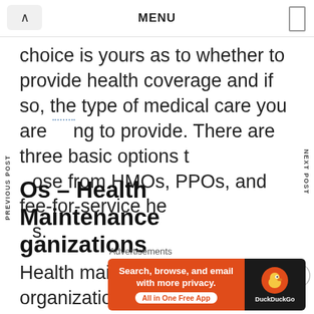MENU
choice is yours as to whether to provide health coverage and if so, the type of medical care you are going to provide. There are three basic options to choose from HMOs, PPOs, and fee-for-service health plans.
HMOs – Health Maintenance Organizations
Health maintenance organizations, or HMOs, are the most widely used form of health care being offered
[Figure (other): DuckDuckGo advertisement banner: 'Search, browse, and email with more privacy. All in One Free App']
Advertisements